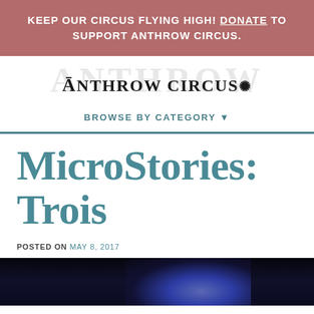KEEP OUR CIRCUS FLYING HIGH! DONATE TO SUPPORT ANTHROW CIRCUS.
[Figure (logo): Anthrow Circus logo with large watermark text 'ANTHROW' in light gray behind the bold logo text 'ANTHROW CIRCUS' with a decorative snowflake/star symbol]
BROWSE BY CATEGORY ▼
MicroStories: Trois
POSTED ON MAY 8, 2017
[Figure (photo): Dark stage photo with blue lighting, partial view of performers]